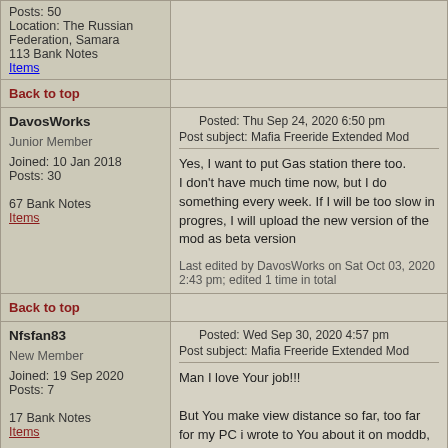Posts: 50
Location: The Russian Federation, Samara
113 Bank Notes
Items
Back to top
DavosWorks
Junior Member
Joined: 10 Jan 2018
Posts: 30
67 Bank Notes
Items
Posted: Thu Sep 24, 2020 6:50 pm
Post subject: Mafia Freeride Extended Mod
Yes, I want to put Gas station there too.
I don't have much time now, but I do something every week. If I will be too slow in progres, I will upload the new version of the mod as beta version
Last edited by DavosWorks on Sat Oct 03, 2020 2:43 pm; edited 1 time in total
Back to top
Nfsfan83
New Member
Joined: 19 Sep 2020
Posts: 7
17 Bank Notes
Items
Posted: Wed Sep 30, 2020 4:57 pm
Post subject: Mafia Freeride Extended Mod
Man I love Your job!!!

But You make view distance so far, too far for my PC i wrote to You about it on moddb, so can You make normal view distance in option?